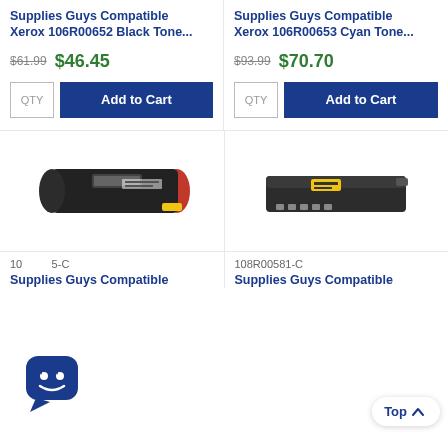Supplies Guys Compatible Xerox 106R00652 Black Tone...
Supplies Guys Compatible Xerox 106R00653 Cyan Tone...
$61.99  $46.45
$93.99  $70.70
QTY  Add to Cart
QTY  Add to Cart
[Figure (photo): Black toner cartridge for Xerox printer]
[Figure (photo): Black toner cartridge/drum unit for Xerox printer]
108R00581-C
Supplies Guys Compatible
Supplies Guys Compatible
[Figure (other): Chat widget icon with speech bubble and smiley face]
Top ^